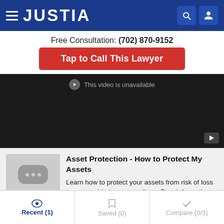JUSTIA
Free Consultation: (702) 870-9152
Tap to Call This Lawyer
[Figure (screenshot): Embedded video player showing 'This video is unavailable' message on black background]
Asset Protection - How to Protect My Assets
Learn how to protect your assets from risk of loss to personal judgment creditors. Free information - the best information and strategies
Recent (1) | Saved (0) | Compare (0/3)